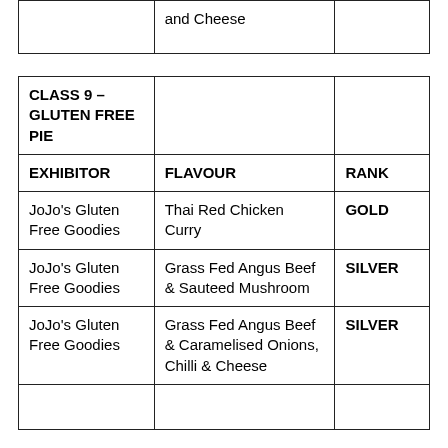| EXHIBITOR | FLAVOUR | RANK |
| --- | --- | --- |
|  | and Cheese |  |
| CLASS 9 – GLUTEN FREE PIE |  |  |
| EXHIBITOR | FLAVOUR | RANK |
| JoJo's Gluten Free Goodies | Thai Red Chicken Curry | GOLD |
| JoJo's Gluten Free Goodies | Grass Fed Angus Beef & Sauteed Mushroom | SILVER |
| JoJo's Gluten Free Goodies | Grass Fed Angus Beef & Caramelised Onions, Chilli & Cheese | SILVER |
|  |  |  |